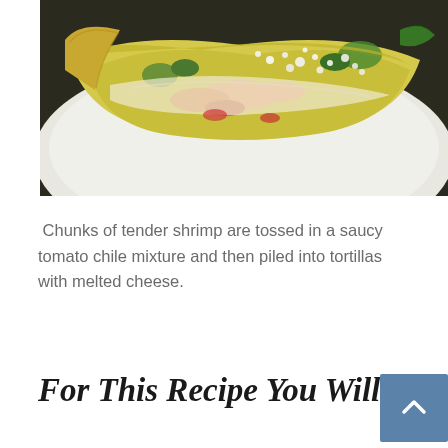[Figure (photo): Close-up photo of shrimp tacos on a white plate — corn tortillas filled with shrimp in creamy sauce, topped with crumbled white cheese and green herbs/vegetables]
Chunks of tender shrimp are tossed in a saucy tomato chile mixture and then piled into tortillas with melted cheese.
For This Recipe You Will Need: